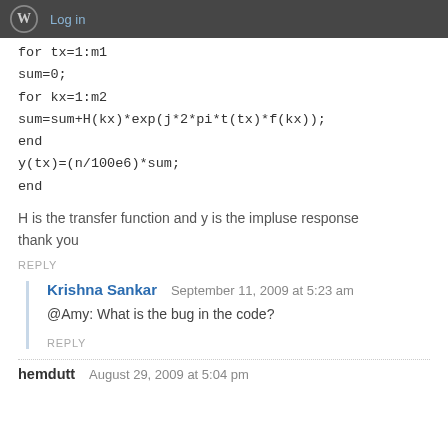Log in
for tx=1:m1
sum=0;
for kx=1:m2
sum=sum+H(kx)*exp(j*2*pi*t(tx)*f(kx));
end
y(tx)=(n/100e6)*sum;
end
H is the transfer function and y is the impluse response
thank you
REPLY
Krishna Sankar  September 11, 2009 at 5:23 am
@Amy: What is the bug in the code?
REPLY
hemdutt  August 29, 2009 at 5:04 pm